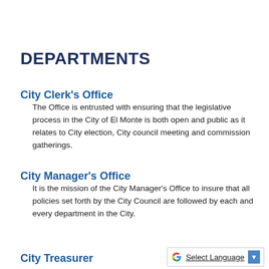DEPARTMENTS
City Clerk's Office
The Office is entrusted with ensuring that the legislative process in the City of El Monte is both open and public as it relates to City election, City council meeting and commission gatherings.
City Manager's Office
It is the mission of the City Manager's Office to insure that all policies set forth by the City Council are followed by each and every department in the City.
City Treasurer
Select Language